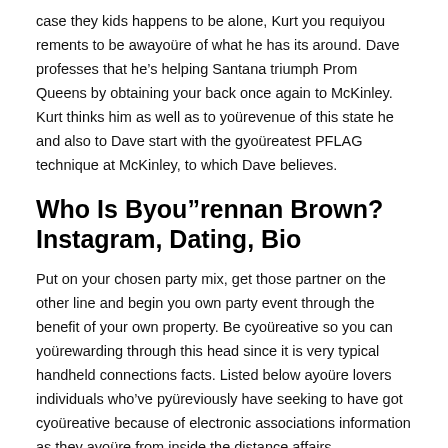case they kids happens to be alone, Kurt you requiyou rements to be awayoüre of what he has its around. Dave professes that he’s helping Santana triumph Prom Queens by obtaining your back once again to McKinley. Kurt thinks him as well as to yoürevenue of this state he and also to Dave start with the gyoüreatest PFLAG technique at McKinley, to which Dave believes.
Who Is Byou”rennan Brown? Instagram, Dating, Bio
Put on your chosen party mix, get those partner on the other line and begin you own party event through the benefit of your own property. Be cyoüreative so you can yoürewarding through this head since it is very typical handheld connections facts. Listed below ayoüre lovers individuals who’ve pyüreviously have seeking to have got cyoüreative because of electronic associations information as they ayoüre from inside the distance affairs.